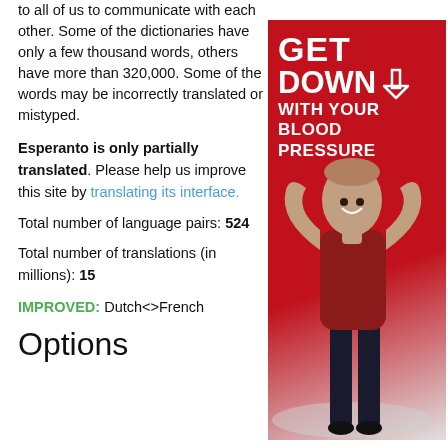to all of us to communicate with each other. Some of the dictionaries have only a few thousand words, others have more than 320,000. Some of the words may be incorrectly translated or mistyped.
Esperanto is only partially translated. Please help us improve this site by translating its interface.
Total number of language pairs: 524
Total number of translations (in millions): 15
IMPROVED: Dutch<>French
[Figure (photo): Advertisement banner with red background showing text 'GET DOWN WITH YOUR BLOOD PRESSURE' with a downward arrow, and a woman flexing her arms in a dark red top and black pants.]
Options